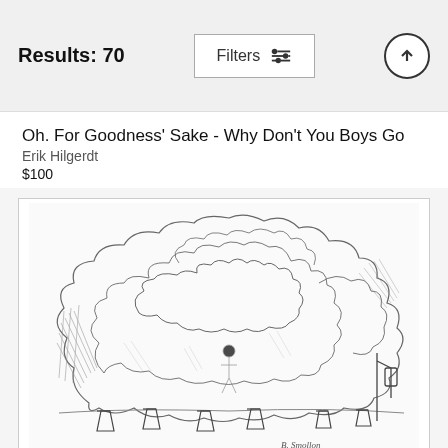Results: 70
Oh. For Goodness' Sake - Why Don't You Boys Go
Erik Hilgerdt
$100
[Figure (illustration): Pencil sketch illustration showing a large billowing cloud of smoke or dust filling most of the scene. At the bottom are several buckets and containers on the ground, with small figures barely visible in the middle of the smoke. On the right side is a post or pole structure. The sketch is done in loose pencil strokes with 'B. Smollon' written at the bottom right.]